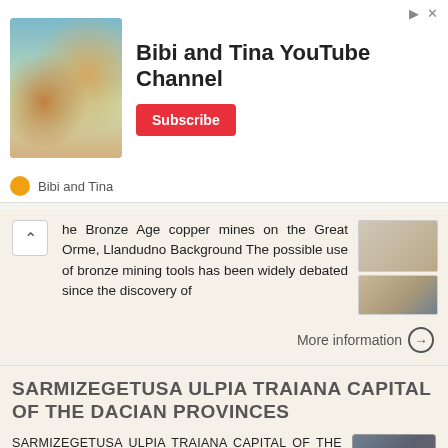[Figure (other): Advertisement banner for Bibi and Tina YouTube Channel with cartoon image, Subscribe button, and channel icon]
he Bronze Age copper mines on the Great Orme, Llandudno Background The possible use of bronze mining tools has been widely debated since the discovery of
More information →
SARMIZEGETUSA ULPIA TRAIANA CAPITAL OF THE DACIAN PROVINCES
SARMIZEGETUSA ULPIA TRAIANA CAPITAL OF THE DACIAN PROVINCES ROMAM IMPERIAL URBAN EXCAVATION TRANSYLVANIA, ROMANIA July 5 August 8, 2015 aria sacra extra muros FOR MORE INFORMATION: www.archaeotek-archaeology.org